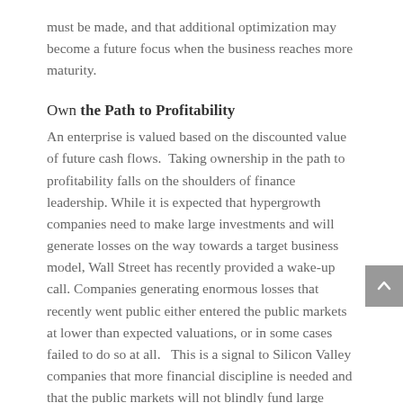must be made, and that additional optimization may become a future focus when the business reaches more maturity.
Own the Path to Profitability
An enterprise is valued based on the discounted value of future cash flows.  Taking ownership in the path to profitability falls on the shoulders of finance leadership. While it is expected that hypergrowth companies need to make large investments and will generate losses on the way towards a target business model, Wall Street has recently provided a wake-up call. Companies generating enormous losses that recently went public either entered the public markets at lower than expected valuations, or in some cases failed to do so at all.   This is a signal to Silicon Valley companies that more financial discipline is needed and that the public markets will not blindly fund large losses without a proven business model featuring strong unit economics